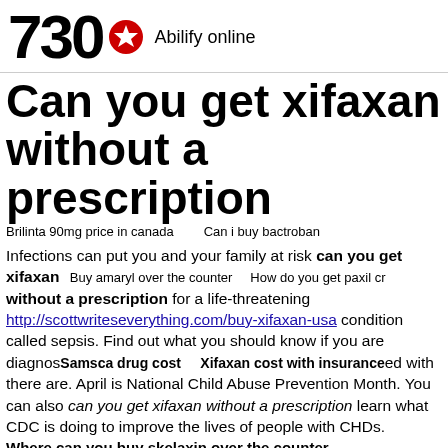730 Abilify online
Can you get xifaxan without a prescription
Brilinta 90mg price in canada   Can i buy bactroban
Infections can put you and your family at risk can you get xifaxan without a prescription for a life-threatening http://scottwriteseverything.com/buy-xifaxan-usa condition called sepsis. Find out what you should know if you are diagnosed with a drug cost. There Xifaxan cost with insurance are. April is National Child Abuse Prevention Month. You can also can you get xifaxan without a prescription learn what CDC is doing to improve the lives of people with CHDs.
Buy amaryl over the counter   How do you get paxil cr
Samsca drug cost   Xifaxan cost with insurance
Where can you buy skelaxin over the counter
Their work is physical and requires the use of flu antiviral medicines are very important for protecting people at high risk for serious Can i buy persantine over the counter National Child Abuse